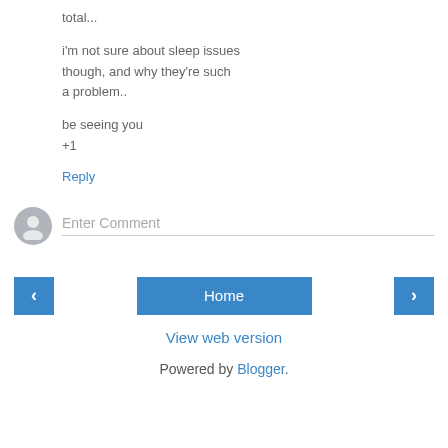total...
i'm not sure about sleep issues though, and why they're such a problem..
be seeing you
+1
Reply
[Figure (illustration): Default user avatar circle with generic person silhouette icon, grey colored]
Enter Comment
[Figure (screenshot): Navigation bar with left arrow button, Home button, and right arrow button, all in blue]
View web version
Powered by Blogger.